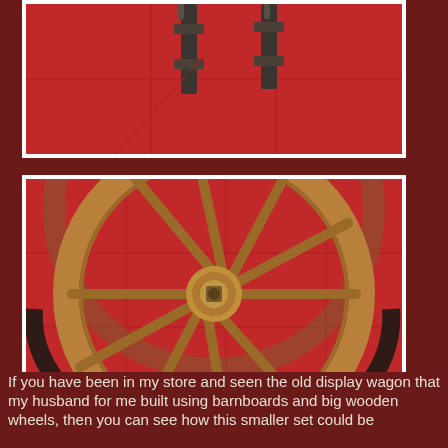[Figure (photo): Close-up photo of the top part of an old wooden wagon, showing metal hardware pieces against a red tiled floor background.]
[Figure (photo): Photo of a large antique wooden wagon wheel with spokes, resting on a red tiled floor. The wheel has a circular wooden rim, multiple wooden spokes, and a central hub. Parts of other wagon components and wheels are visible in the background.]
If you have been in my store and seen the old display wagon that my husband for me built using barnboards and big wooden wheels, then you can see how this smaller set could be